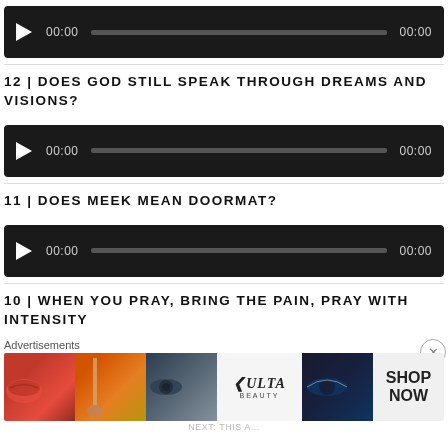[Figure (other): Audio player widget with play button, progress bar, and 00:00 timestamps]
12 | DOES GOD STILL SPEAK THROUGH DREAMS AND VISIONS?
[Figure (other): Audio player widget with play button, progress bar, and 00:00 timestamps]
11 | DOES MEEK MEAN DOORMAT?
[Figure (other): Audio player widget with play button, progress bar, and 00:00 timestamps]
10 | WHEN YOU PRAY, BRING THE PAIN, PRAY WITH INTENSITY
[Figure (other): Ulta Beauty advertisement banner with makeup images and SHOP NOW text]